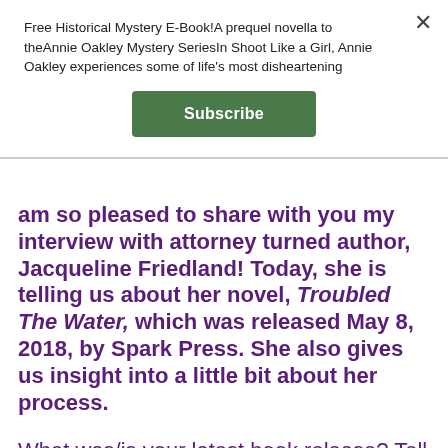Free Historical Mystery E-Book!A prequel novella to theAnnie Oakley Mystery SeriesIn Shoot Like a Girl, Annie Oakley experiences some of life's most disheartening
Subscribe
am so pleased to share with you my interview with attorney turned author, Jacqueline Friedland! Today, she is telling us about her novel, Troubled The Water, which was released May 8, 2018, by Spark Press. She also gives us insight into a little bit about her process.
What was/is your latest book release? Tell